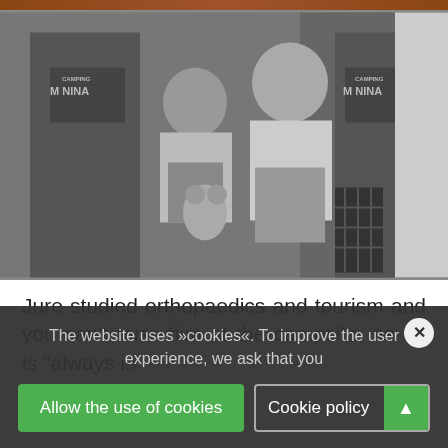[Figure (photo): Black and white photo of a family group at a campsite. Two adults wearing 'Camping Menina' t-shirts and two children seated, one holding a stuffed animal.]
Jure studied orthopaedics and tourism and you can't miss him at the campsite, as he is "always in
The website uses »cookies«. To improve the user experience, we ask that you
Allow the use of cookies
Cookie policy